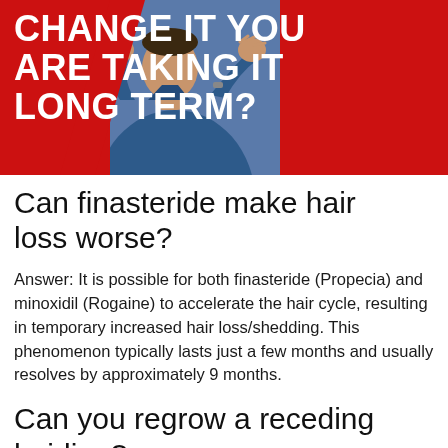[Figure (photo): Banner image showing a doctor in blue scrubs with hands raised, against a red background with bold white text reading 'CHANGE IT YOU ARE TAKING IT LONG TERM?']
Can finasteride make hair loss worse?
Answer: It is possible for both finasteride (Propecia) and minoxidil (Rogaine) to accelerate the hair cycle, resulting in temporary increased hair loss/shedding. This phenomenon typically lasts just a few months and usually resolves by approximately 9 months.
Can you regrow a receding hairline?